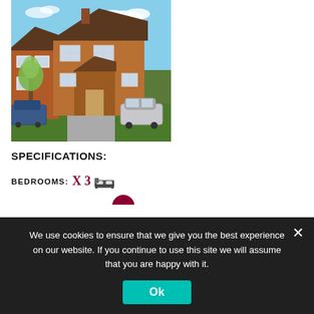[Figure (photo): Exterior photo of a semi-detached red brick house with brown roof, green lawn, driveway, parked car, and trees in front against a blue sky]
SPECIFICATIONS:
BEDROOMS: X 3 [bed icon]
We use cookies to ensure that we give you the best experience on our website. If you continue to use this site we will assume that you are happy with it.
Ok